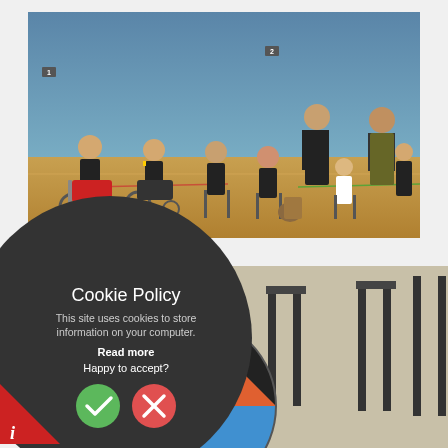[Figure (photo): Group photo of boccia club members in a sports hall/gymnasium. Seven people posed in front of a blue wall on a wooden floor — some in wheelchairs, some seated on chairs. Several wear dark/black uniforms. Two adults stand at the back. Numbered markers '1' and '2' are visible on the wall.]
[Figure (infographic): Dark circular cookie policy popup overlay with title 'Cookie Policy', explanatory text 'This site uses cookies to store information on your computer.', bold 'Read more' link, 'Happy to accept?' prompt, and two circular buttons — a green checkmark (accept) and a red X (decline).]
[Figure (photo): Partial photo showing chairs and a round boccia club logo/sign with text 'scarBOCCIA Club' visible in the lower right portion of the page.]